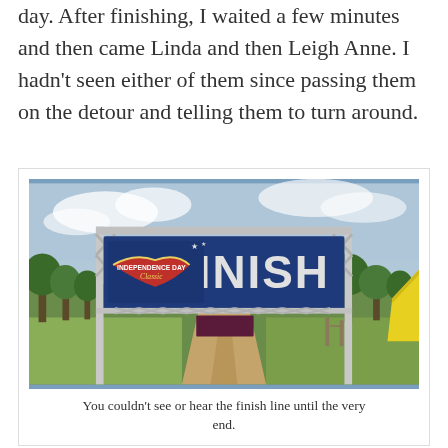day. After finishing, I waited a few minutes and then came Linda and then Leigh Anne. I hadn't seen either of them since passing them on the detour and telling them to turn around.
[Figure (photo): A finish line arch made of metal scaffolding with a large blue banner reading 'FINISH' and an Independence Day Classic logo on the left side, set on a rural dirt road with green fields and trees in the background. A yellow tent is visible on the far right.]
You couldn't see or hear the finish line until the very end.